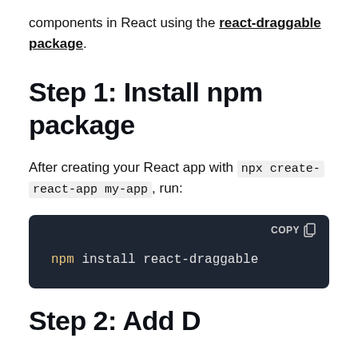components in React using the react-draggable package.
Step 1: Install npm package
After creating your React app with npx create-react-app my-app, run:
[Figure (screenshot): Dark code block showing: npm install react-draggable, with a COPY button in the top right corner]
Step 2: Add Draggable...